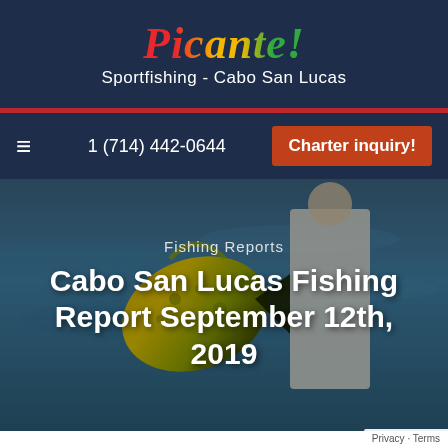Picante! Sportfishing - Cabo San Lucas
1 (714) 442-0644   Charter inquiry!
[Figure (photo): Person holding a large mahi-mahi (dorado) fish on a boat with ocean in the background]
Fishing Reports
Cabo San Lucas Fishing Report September 12th, 2019
Privacy · Terms